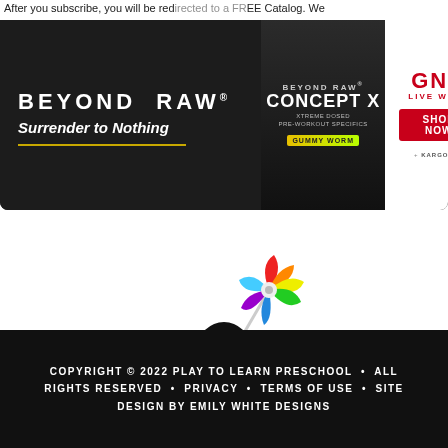After you subscribe, you will be redirected to a FREE Catalog. We
[Figure (advertisement): Beyond Raw 'Surrender to Nothing' ad banner with Concept X product and GNC Live Well Shop Now button]
[Figure (illustration): Cartoon black bird holding a rainbow pinwheel, standing on a shadow, with yellow feet]
COPYRIGHT © 2022 PLAY TO LEARN PRESCHOOL • ALL RIGHTS RESERVED • PRIVACY • TERMS OF USE • SITE DESIGN BY EMILY WHITE DESIGNS